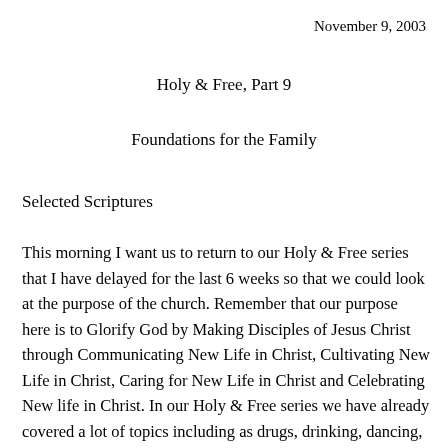November 9, 2003
Holy & Free, Part 9
Foundations for the Family
Selected Scriptures
This morning I want us to return to our Holy & Free series that I have delayed for the last 6 weeks so that we could look at the purpose of the church. Remember that our purpose here is to Glorify God by Making Disciples of Jesus Christ through Communicating New Life in Christ, Cultivating New Life in Christ, Caring for New Life in Christ and Celebrating New life in Christ. In our Holy & Free series we have already covered a lot of topics including as drugs, drinking, dancing, dress, music, entertainment, leisure, dating, courtship, marriage, and having children. Before we get into our exposition of the book of Philippians, I want us to spend 2 more weeks on the theme...